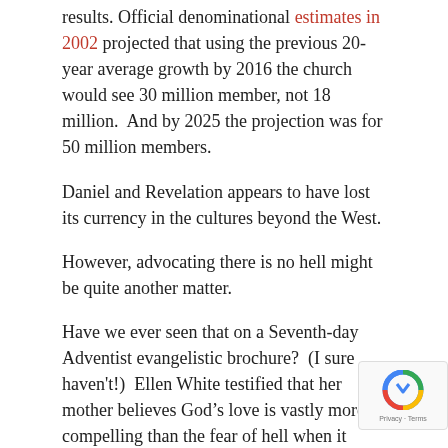results. Official denominational estimates in 2002 projected that using the previous 20-year average growth by 2016 the church would see 30 million member, not 18 million.  And by 2025 the projection was for 50 million members.
Daniel and Revelation appears to have lost its currency in the cultures beyond the West.
However, advocating there is no hell might be quite another matter.
Have we ever seen that on a Seventh-day Adventist evangelistic brochure?  (I sure haven't!)  Ellen White testified that her mother believes God’s love is vastly more compelling than the fear of hell when it comes to attracting humans to Christianity.
How about this as an evangelistic brochure headli
God loves you.